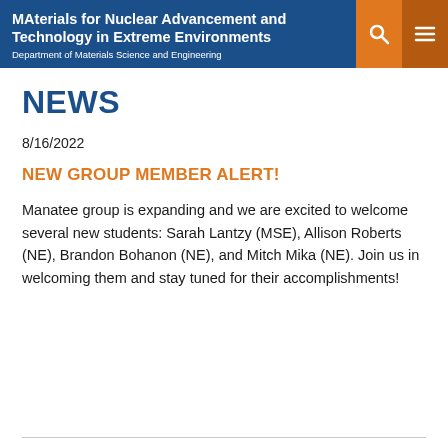MAterials for Nuclear Advancement and Technology in Extreme Environments
Department of Materials Science and Engineering
NEWS
8/16/2022
NEW GROUP MEMBER ALERT!
Manatee group is expanding and we are excited to welcome several new students: Sarah Lantzy (MSE), Allison Roberts (NE), Brandon Bohanon (NE), and Mitch Mika (NE). Join us in welcoming them and stay tuned for their accomplishments!